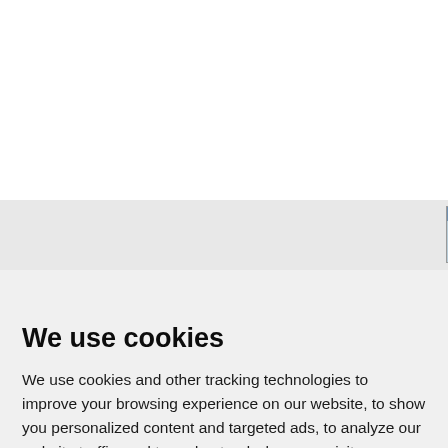tags: Microsoft Office 20 add-ins, Word Documen Presentation Tabs, Tabb Documents, Tabbed Mar
[Figure (screenshot): Thumbnail screenshot of XpressDox interface]
XpressDox x64 4.2.3.0
We use cookies
We use cookies and other tracking technologies to improve your browsing experience on our website, to show you personalized content and targeted ads, to analyze our website traffic, and to understand where our visitors are coming from.
I agree   Change my preferences